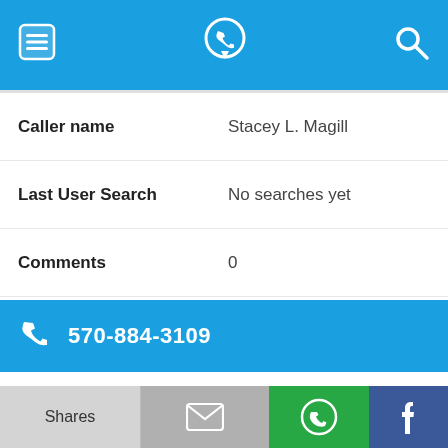[Figure (screenshot): Mobile app navigation bar with menu icon, phone locator logo, and search icon on blue background]
| Field | Value |
| --- | --- |
| Caller name | Stacey L. Magill |
| Last User Search | No searches yet |
| Comments | 0 |
570-884-3109
| Field | Value |
| --- | --- |
| Alternate Form | 5708843109 |
| Caller name | Ralph A. Varner |
Shares | [email icon] | [WhatsApp icon] | [Facebook icon]